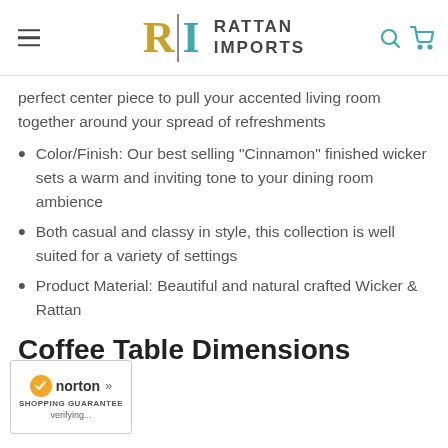Rattan Imports
perfect center piece to pull your accented living room together around your spread of refreshments
Color/Finish: Our best selling "Cinnamon" finished wicker sets a warm and inviting tone to your dining room ambience
Both casual and classy in style, this collection is well suited for a variety of settings
Product Material: Beautiful and natural crafted Wicker & Rattan
Coffee Table Dimensions
[Figure (logo): Norton Shopping Guarantee badge with checkmark and verifying text]